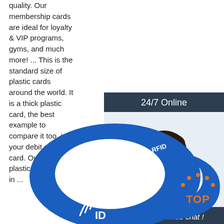quality. Our membership cards are ideal for loyalty & VIP programs, gyms, and much more! ... This is the standard size of plastic cards around the world. It is a thick plastic card, the best example to compare it too, is your debit or credit card. Our 30mil plastic cards come in ...
[Figure (other): Orange 'Get Price' button]
[Figure (other): 24/7 Online chat widget with photo of female customer service representative with headset, 'Click here for free chat!' text, and orange QUOTATION button]
[Figure (photo): Blue RFID silicone wristband with RFID text and wireless signal symbol printed on it]
[Figure (logo): Orange TOP badge with dots forming an arc above the word TOP]